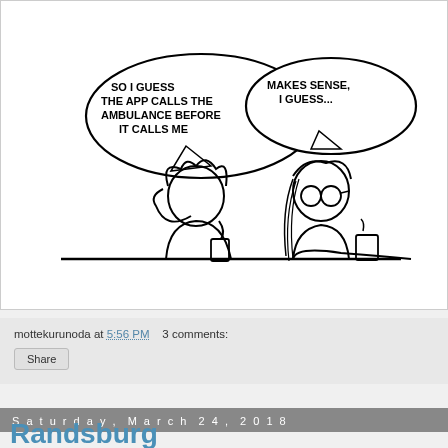[Figure (illustration): Hand-drawn cartoon of two people at a table. Left person says in speech bubble: 'SO I GUESS THE APP CALLS THE AMBULANCE BEFORE IT CALLS ME'. Right person responds: 'MAKES SENSE, I GUESS...' Both have cups on the table.]
mottekurunoda at 5:56 PM   3 comments:
Share
Saturday, March 24, 2018
Randsburg